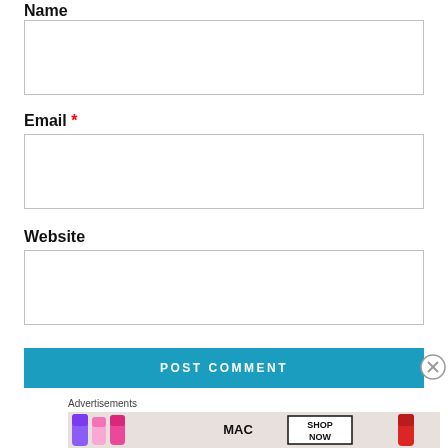Name
[Figure (other): Empty text input box for Name field]
Email *
[Figure (other): Empty text input box for Email field]
Website
[Figure (other): Empty text input box for Website field]
POST COMMENT
Advertisements
[Figure (other): MAC cosmetics advertisement showing lipsticks with SHOP NOW button]